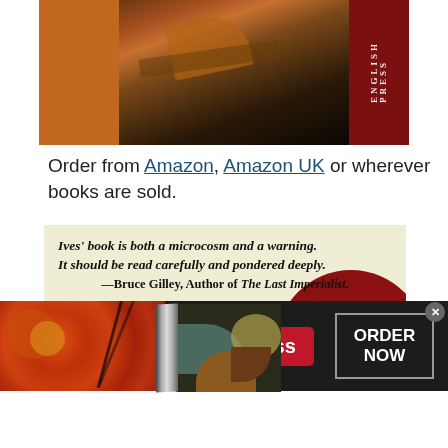[Figure (photo): Book cover showing a violin still-life painting with an orange/brown background and text reading ENGLISH PRESS on the spine]
Order from Amazon, Amazon UK or wherever books are sold.
[Figure (illustration): Book advertisement with cream background, bold italic quote: Ives' book is both a microcosm and a warning. It should be read carefully and pondered deeply. —Bruce Gilley, Author of The Last Imperialist. Below is an illustrated book cover with abstract shapes in red, teal, brown colors.]
[Figure (screenshot): Seamless food delivery advertisement banner showing pizza on left, seamless logo in center, ORDER NOW button on right with close X button]